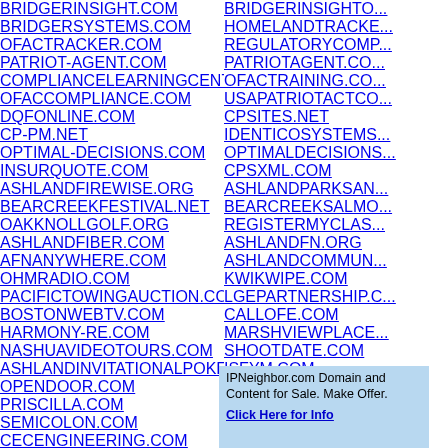BRIDGERINSIGHT.COM
BRIDGERSYSTEMS.COM
OFACTRACKER.COM
PATRIOT-AGENT.COM
COMPLIANCELEARNINGCENTER.COM
OFACCOMPLIANCE.COM
DQFONLINE.COM
CP-PM.NET
OPTIMAL-DECISIONS.COM
INSURQUOTE.COM
ASHLANDFIREWISE.ORG
BEARCREEKFESTIVAL.NET
OAKKNOLLGOLF.ORG
ASHLANDFIBER.COM
AFNANYWHERE.COM
OHMRADIO.COM
PACIFICTOWINGAUCTION.COM
BOSTONWEBTV.COM
HARMONY-RE.COM
NASHUAVIDEOTOURS.COM
ASHLANDINVITATIONALPOKERCLUB.COM
OPENDOOR.COM
PRISCILLA.COM
SEMICOLON.COM
CECENGINEERING.COM
LITHIAWATER.COM
MTASHLAND.NET
ASHLANDHOME.ORG
BRIDGERINSIGHTO...
HOMELANDTRACKE...
REGULATORYCOMP...
PATRIOTAGENT.CO...
OFACTRAINING.CO...
USAPATRIOTACTCO...
CPSITES.NET
IDENTICOSYSTEMS...
OPTIMALDECISIONS...
CPSXML.COM
ASHLANDPARKSAN...
BEARCREEKSALMO...
REGISTERMYCLAS...
ASHLANDFN.ORG
ASHLANDCOMMUN...
KWIKWIPE.COM
LGEPARTNERSHIP.C...
CALLOFE.COM
MARSHVIEWPLACE...
SHOOTDATE.COM
ISFYM.COM
OPPENHEIMERFOU...
TOPDOWNBOOK.CO...
IPNeighbor.com Domain and Content for Sale. Make Offer. Click Here for Info